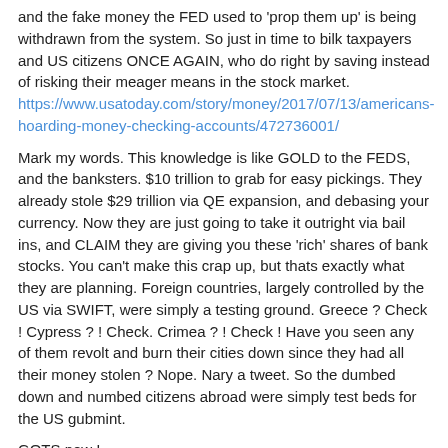and the fake money the FED used to 'prop them up' is being withdrawn from the system. So just in time to bilk taxpayers and US citizens ONCE AGAIN, who do right by saving instead of risking their meager means in the stock market. https://www.usatoday.com/story/money/2017/07/13/americans-hoarding-money-checking-accounts/472736001/
Mark my words. This knowledge is like GOLD to the FEDS, and the banksters. $10 trillion to grab for easy pickings. They already stole $29 trillion via QE expansion, and debasing your currency. Now they are just going to take it outright via bail ins, and CLAIM they are giving you these 'rich' shares of bank stocks. You can't make this crap up, but thats exactly what they are planning. Foreign countries, largely controlled by the US via SWIFT, were simply a testing ground. Greece ? Check ! Cypress ? ! Check. Crimea ? ! Check ! Have you seen any of them revolt and burn their cities down since they had all their money stolen ? Nope. Nary a tweet. So the dumbed down and numbed citizens abroad were simply test beds for the US gubmint.
GOTS now !